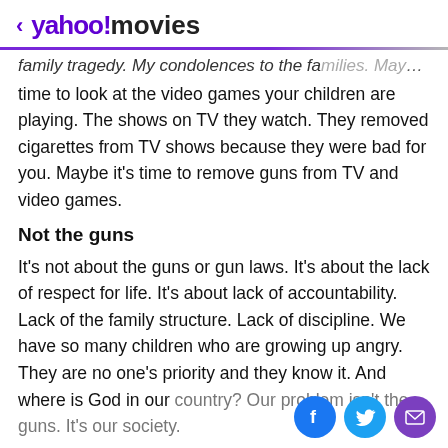< yahoo!movies
...family tragedy. My condolences to the families. Maybe it's time to look at the video games your children are playing. The shows on TV they watch. They removed cigarettes from TV shows because they were bad for you. Maybe it's time to remove guns from TV and video games.
Not the guns
It's not about the guns or gun laws. It's about the lack of respect for life. It's about lack of accountability. Lack of the family structure. Lack of discipline. We have so many children who are growing up angry. They are no one's priority and they know it. And where is God in our country? Our problem isn't the guns. It's our society.